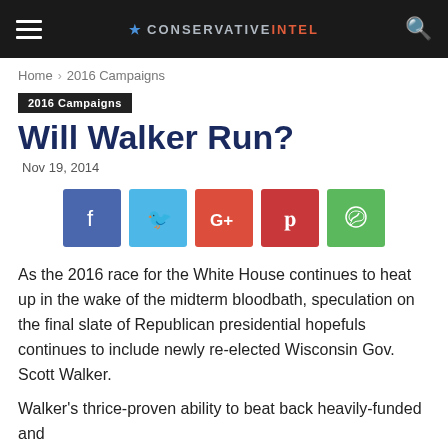CONSERVATIVE INTEL
Home › 2016 Campaigns
2016 Campaigns
Will Walker Run?
Nov 19, 2014
[Figure (other): Social share buttons: Facebook, Twitter, Google+, Pinterest, WhatsApp]
As the 2016 race for the White House continues to heat up in the wake of the midterm bloodbath, speculation on the final slate of Republican presidential hopefuls continues to include newly re-elected Wisconsin Gov. Scott Walker.
Walker's thrice-proven ability to beat back heavily-funded and